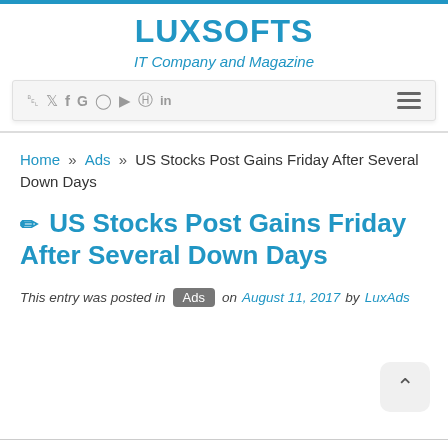LUXSOFTS
IT Company and Magazine
RSS Twitter Facebook Google Instagram YouTube Pinterest LinkedIn ≡
Home » Ads » US Stocks Post Gains Friday After Several Down Days
✏ US Stocks Post Gains Friday After Several Down Days
This entry was posted in Ads on August 11, 2017 by LuxAds